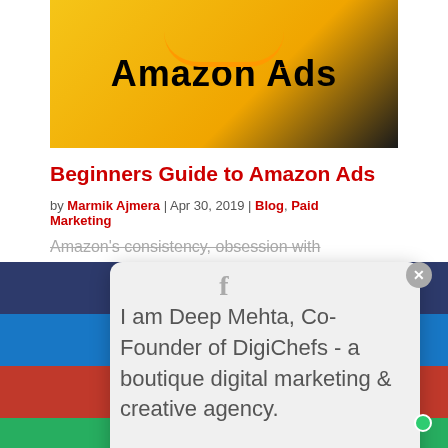[Figure (photo): Amazon Ads promotional image showing a laptop with 'Amazon Ads' text and Amazon logo/smile on yellow background]
Beginners Guide to Amazon Ads
by Marmik Ajmera | Apr 30, 2019 | Blog, Paid Marketing
Amazon's consistency, obsession with
[Figure (screenshot): Social share popup overlay with Facebook, LinkedIn, Pinterest, WhatsApp share bars and a chat bubble card reading 'I am Deep Mehta, Co-Founder of DigiChefs - a boutique digital marketing & creative agency.' with avatar photo]